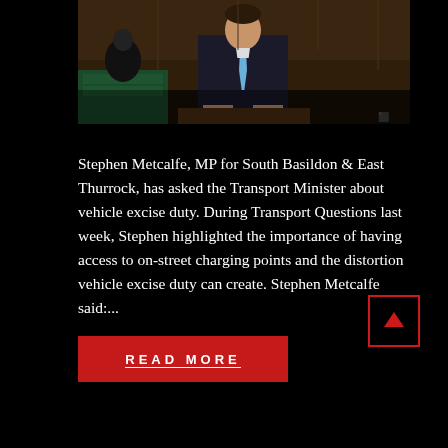[Figure (photo): A man in a dark suit with a light blue tie speaking in what appears to be the UK House of Commons chamber, with green benches and ornate wood paneling visible in the background.]
Stephen Metcalfe, MP for South Basildon & East Thurrock, has asked the Transport Minister about vehicle excise duty. During Transport Questions last week, Stephen highlighted the importance of having access to on-street charging points and the distortion vehicle excise duty can create. Stephen Metcalfe said:...
READ MORE